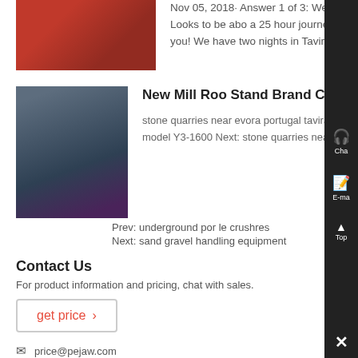[Figure (photo): Red industrial machinery/equipment (top left snippet)]
Nov 05, 2018· Answer 1 of 3: We are traveling to Evora from Tavira by car this winter Looks to be about a 25 hour journey Any stops or must see places along the way? Thank you! We have two nights in Tavira
[Figure (photo): Green/grey industrial mill machinery]
New Mill Roo Stand Brand China Modelo Y3 - Art-De-Pierreeu
stone quarries near evora portugal tavira please find photo for sand aggregate washing machi Prev: new mill roo stand brand china model Y3-1600 Next: stone quarries near evora portugal tavira also you can contact the oversea-offices which is near yo
Prev: underground por le crushres
Next: sand gravel handling equipment
Contact Us
For product information and pricing, chat with sales.
get price ›
price@pejaw.com
SKY Company © 2021 Copyrights. - sitemap